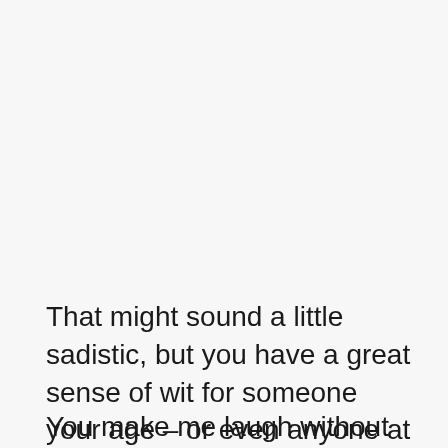That might sound a little sadistic, but you have a great sense of wit for someone your age – or even anyone at all!
You make me laugh without even trying, and I'm glad